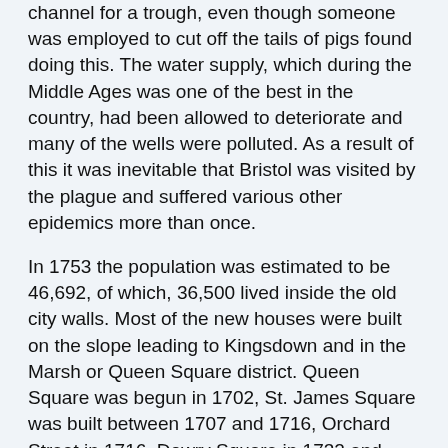channel for a trough, even though someone was employed to cut off the tails of pigs found doing this. The water supply, which during the Middle Ages was one of the best in the country, had been allowed to deteriorate and many of the wells were polluted. As a result of this it was inevitable that Bristol was visited by the plague and suffered various other epidemics more than once.
In 1753 the population was estimated to be 46,692, of which, 36,500 lived inside the old city walls. Most of the new houses were built on the slope leading to Kingsdown and in the Marsh or Queen Square district. Queen Square was begun in 1702, St. James Square was built between 1707 and 1716, Orchard Street in 1716, Dowry Square in 1732 and King Square in 1755. These new houses had large, high rooms, sash windows, decorated entranceways, roofs of red tile and had wrought iron railings surrounding them. Many, many examples of this type of house can still be found all over the city.
Although food lacked variety the well to do managed to eat very well. Parson Woodford of Norfolk writes that he was entertained with fish and oyster sauce, boiled beef, roast neck of pork with apple sauce, hashed turkey, mutton steaks, salad, roast duck, fried rabbit, plum pudding, tartlets, olives, almonds, raisins and apples. For drink